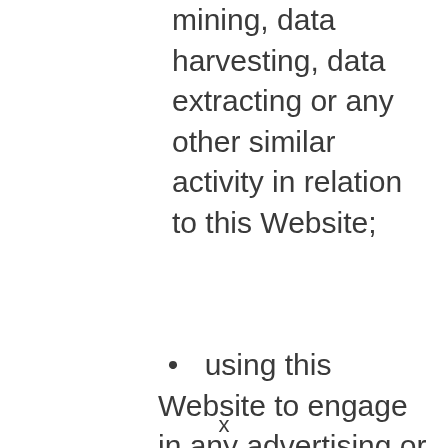mining, data harvesting, data extracting or any other similar activity in relation to this Website;
using this Website to engage in any advertising or marketing.
Certain areas of this Website are restricted from being access by you and McWilliams Media may further restrict access by you...
x